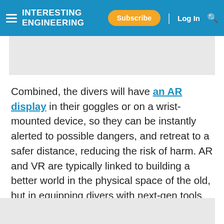Interesting Engineering | Subscribe | Log In
Combined, the divers will have an AR display in their goggles or on a wrist-mounted device, so they can be instantly alerted to possible dangers, and retreat to a safer distance, reducing the risk of harm. AR and VR are typically linked to building a better world in the physical space of the old, but in equipping divers with next-gen tools to remove deadly weapons from the seas near Germany, we're witnessing a new way of remedying the horrors of wars from a century ago.